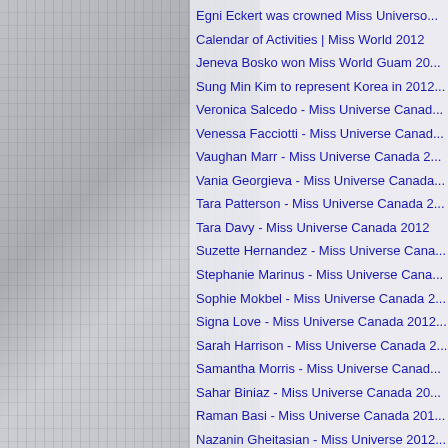[Figure (photo): Grayscale background photo on the left half of the page, appears to show people in a crowd or event setting]
Egni Eckert was crowned Miss Universo...
Calendar of Activities | Miss World 2012
Jeneva Bosko won Miss World Guam 20...
Sung Min Kim to represent Korea in 2012...
Veronica Salcedo - Miss Universe Canad...
Venessa Facciotti - Miss Universe Canad...
Vaughan Marr - Miss Universe Canada 2...
Vania Georgieva - Miss Universe Canada...
Tara Patterson - Miss Universe Canada 2...
Tara Davy - Miss Universe Canada 2012
Suzette Hernandez - Miss Universe Cana...
Stephanie Marinus - Miss Universe Cana...
Sophie Mokbel - Miss Universe Canada 2...
Signa Love - Miss Universe Canada 2012...
Sarah Harrison - Miss Universe Canada 2...
Samantha Morris - Miss Universe Canad...
Sahar Biniaz - Miss Universe Canada 20...
Raman Basi - Miss Universe Canada 201...
Nazanin Gheitasian - Miss Universe 2012...